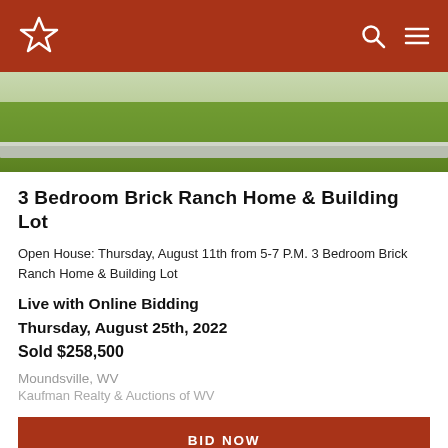Kaufman Realty & Auctions of WV — navigation header
[Figure (photo): Outdoor photo showing green grass lawn and a concrete curb or path edge, cropped at top of the listing card]
3 Bedroom Brick Ranch Home & Building Lot
Open House: Thursday, August 11th from 5-7 P.M. 3 Bedroom Brick Ranch Home & Building Lot
Live with Online Bidding
Thursday, August 25th, 2022
Sold $258,500
Moundsville, WV
Kaufman Realty & Auctions of WV
BID NOW
LEARN MORE